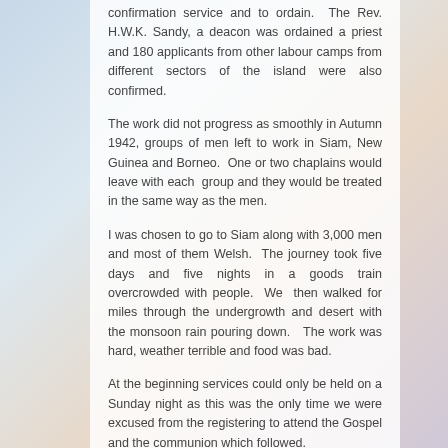confirmation service and to ordain. The Rev. H.W.K. Sandy, a deacon was ordained a priest and 180 applicants from other labour camps from different sectors of the island were also confirmed.
The work did not progress as smoothly in Autumn 1942, groups of men left to work in Siam, New Guinea and Borneo. One or two chaplains would leave with each group and they would be treated in the same way as the men.
I was chosen to go to Siam along with 3,000 men and most of them Welsh. The journey took five days and five nights in a goods train overcrowded with people. We then walked for miles through the undergrowth and desert with the monsoon rain pouring down. The work was hard, weather terrible and food was bad.
At the beginning services could only be held on a Sunday night as this was the only time we were excused from the registering to attend the Gospel and the communion which followed.
Very soon, the hospitals became full and this was mostly where the Chaplains would work and also they would bury the dead. When the cholera plague was rife we would bury ten to twelve